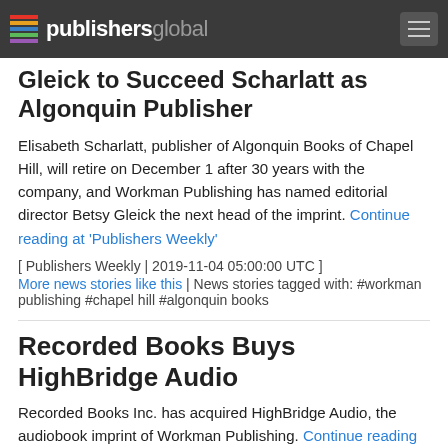publishersglobal
Gleick to Succeed Scharlatt as Algonquin Publisher
Elisabeth Scharlatt, publisher of Algonquin Books of Chapel Hill, will retire on December 1 after 30 years with the company, and Workman Publishing has named editorial director Betsy Gleick the next head of the imprint. Continue reading at 'Publishers Weekly'
[ Publishers Weekly | 2019-11-04 05:00:00 UTC ]
More news stories like this | News stories tagged with: #workman publishing #chapel hill #algonquin books
Recorded Books Buys HighBridge Audio
Recorded Books Inc. has acquired HighBridge Audio, the audiobook imprint of Workman Publishing. Continue reading at 'Publishers Weekly'
[ Publishers Weekly | 2014-05-05 00:00:00 UTC ]
More news stories like this | News stories tagged with: #workman